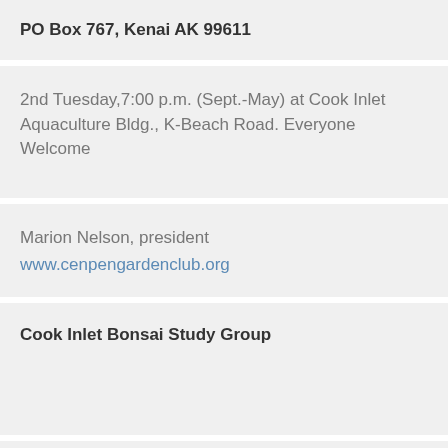PO Box 767, Kenai AK 99611
2nd Tuesday,7:00 p.m. (Sept.-May) at Cook Inlet Aquaculture Bldg., K-Beach Road. Everyone Welcome
Marion Nelson, president
www.cenpengardenclub.org
Cook Inlet Bonsai Study Group
First Sunday, 1:00 p.m., Dimond Greenhouses